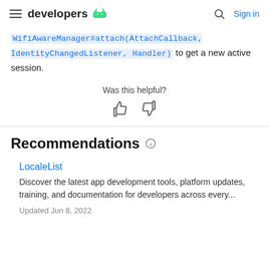developers [android logo] | Search | Sign in
WifiAwareManager#attach(AttachCallback, IdentityChangedListener, Handler) to get a new active session.
Was this helpful? [thumbs up] [thumbs down]
Recommendations
LocaleList
Discover the latest app development tools, platform updates, training, and documentation for developers across every...
Updated Jun 8, 2022